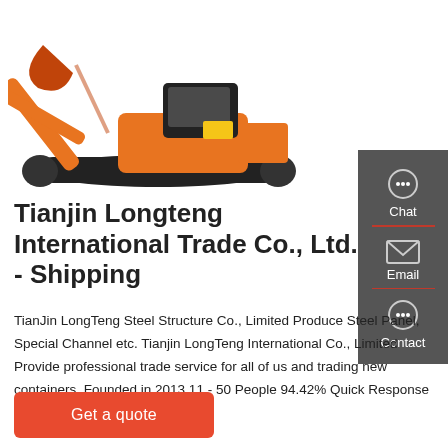[Figure (photo): Orange excavator/tracked construction machine on white background]
Tianjin Longteng International Trade Co., Ltd. - Shipping
TianJin LongTeng Steel Structure Co., Limited Produce Steel Panel, Special Channel etc. Tianjin LongTeng International Co., Limited Provide professional trade service for all of us and trading new containers. Founded in 2013 11 - 50 People 94.42% Quick Response Rate 501 - 1000 square meters.
Get a quote